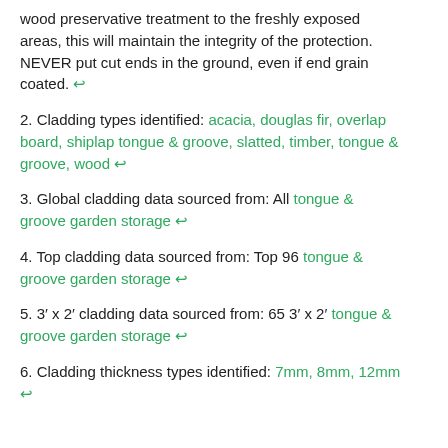wood preservative treatment to the freshly exposed areas, this will maintain the integrity of the protection. NEVER put cut ends in the ground, even if end grain coated. ↩
2. Cladding types identified: acacia, douglas fir, overlap board, shiplap tongue & groove, slatted, timber, tongue & groove, wood ↩
3. Global cladding data sourced from: All tongue & groove garden storage ↩
4. Top cladding data sourced from: Top 96 tongue & groove garden storage ↩
5. 3′ x 2′ cladding data sourced from: 65 3′ x 2′ tongue & groove garden storage ↩
6. Cladding thickness types identified: 7mm, 8mm, 12mm ↩